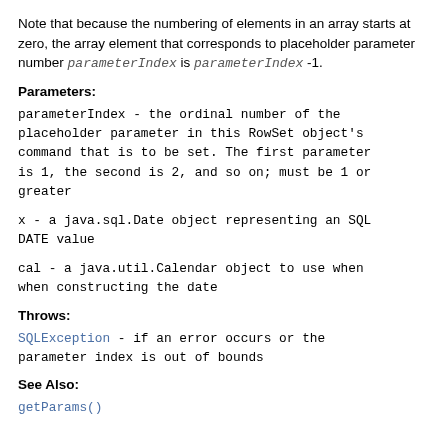Note that because the numbering of elements in an array starts at zero, the array element that corresponds to placeholder parameter number parameterIndex is parameterIndex -1.
Parameters:
parameterIndex - the ordinal number of the placeholder parameter in this RowSet object's command that is to be set. The first parameter is 1, the second is 2, and so on; must be 1 or greater
x - a java.sql.Date object representing an SQL DATE value
cal - a java.util.Calendar object to use when when constructing the date
Throws:
SQLException - if an error occurs or the parameter index is out of bounds
See Also:
getParams()